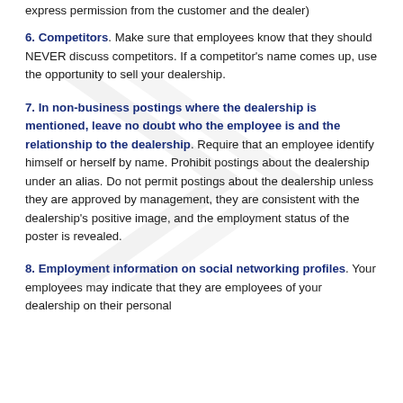6. Competitors. Make sure that employees know that they should NEVER discuss competitors. If a competitor's name comes up, use the opportunity to sell your dealership.
7. In non-business postings where the dealership is mentioned, leave no doubt who the employee is and the relationship to the dealership. Require that an employee identify himself or herself by name. Prohibit postings about the dealership under an alias. Do not permit postings about the dealership unless they are approved by management, they are consistent with the dealership's positive image, and the employment status of the poster is revealed.
8. Employment information on social networking profiles. Your employees may indicate that they are employees of your dealership on their personal